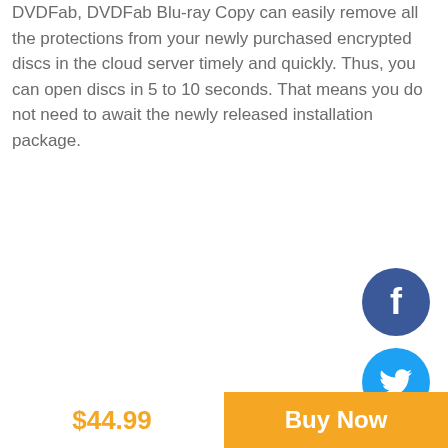DVDFab, DVDFab Blu-ray Copy can easily remove all the protections from your newly purchased encrypted discs in the cloud server timely and quickly. Thus, you can open discs in 5 to 10 seconds. That means you do not need to await the newly released installation package.
[Figure (illustration): Facebook social media circular button icon with white 'f' logo on dark blue background]
[Figure (illustration): Twitter social media circular button icon with white bird logo on light blue background]
$44.99
Buy Now